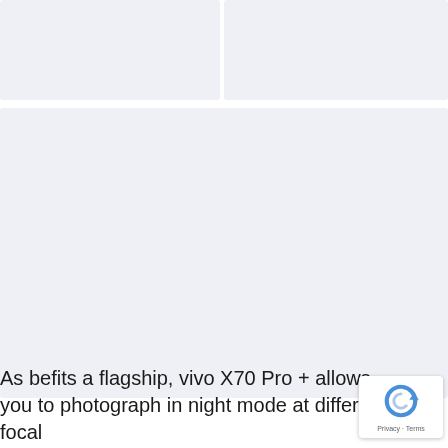[Figure (photo): Top-left image placeholder, light blue-gray background]
[Figure (photo): Top-right image placeholder, light blue-gray background]
[Figure (photo): Large bottom image placeholder, light blue-gray background]
As befits a flagship, vivo X70 Pro + allows you to photograph in night mode at different focal
[Figure (other): Google reCAPTCHA badge with refresh icon and Privacy - Terms text]